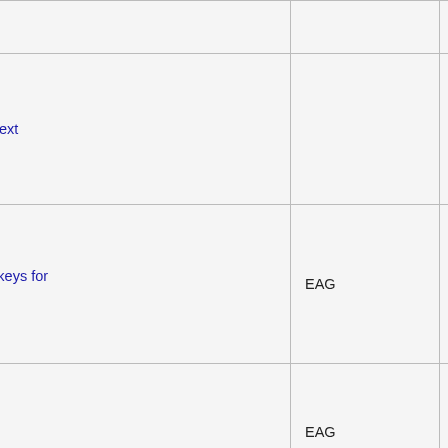|  | Proposal Zoom Context |  |  |
|  | Proposal: Reserved keys for custom key bindings | EAG | Pe |
|  | Proposal Crossfade | EAG |  |
|  | Proposal Normalize & |  |  |